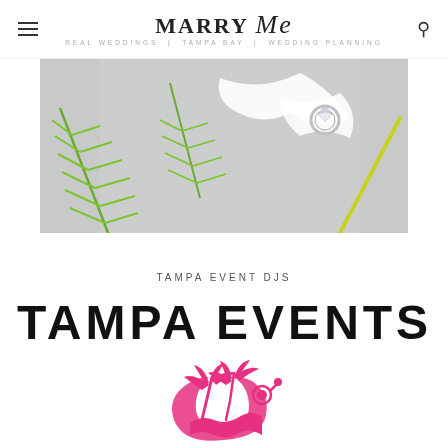MARRY Me | TAMPA BAY | Wedding Planning
[Figure (photo): Flat lay photo of wedding rings on gray sand with green tropical leaves and white ribbon]
TAMPA EVENT DJS
[Figure (logo): TAMPA EVENTS DJs logo text in large black sans-serif letters]
[Figure (logo): Tampa Events DJs pink palm tree and music note icon logo]